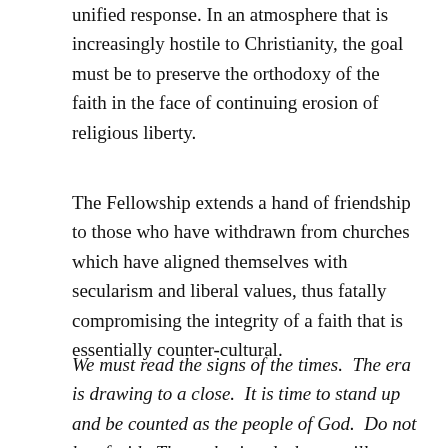unified response. In an atmosphere that is increasingly hostile to Christianity, the goal must be to preserve the orthodoxy of the faith in the face of continuing erosion of religious liberty.
The Fellowship extends a hand of friendship to those who have withdrawn from churches which have aligned themselves with secularism and liberal values, thus fatally compromising the integrity of a faith that is essentially counter-cultural.
We must read the signs of the times.  The era is drawing to a close.  It is time to stand up and be counted as the people of God.  Do not be afraid.  The gathering darkness will not enshroud the light of faith nor quench the flame of truth.  These will remain, along with all